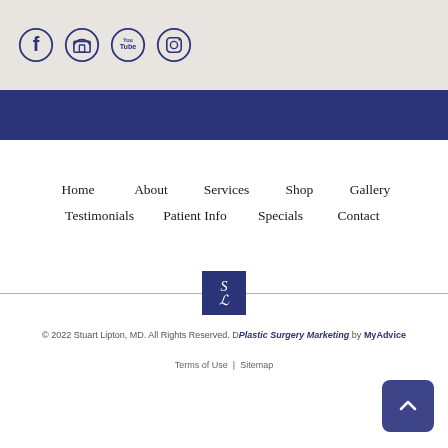[Figure (illustration): Four social media icons in circles on light beige background: Facebook, Store/GMB, YouTube, Instagram]
Home   About   Services   Shop   Gallery
Testimonials   Patient Info   Specials   Contact
[Figure (logo): Square logo with stylized SL initials on dark blue background]
© 2022 Stuart Lipton, MD. All Rights Reserved. D Plastic Surgery Marketing by MyAdvice
Terms of Use | Sitemap